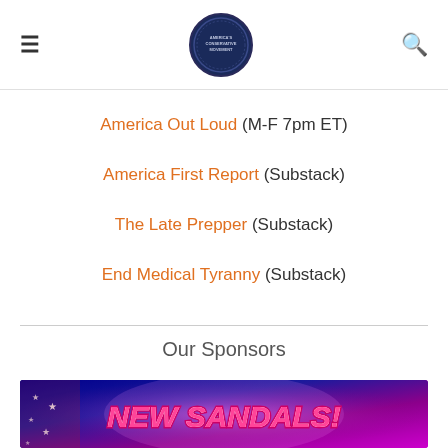Navigation header with hamburger menu, circular logo, and search icon
America Out Loud (M-F 7pm ET)
America First Report (Substack)
The Late Prepper (Substack)
End Medical Tyranny (Substack)
Our Sponsors
[Figure (photo): Sponsor banner with American flag and fireworks background showing text NEW SANDALS!]